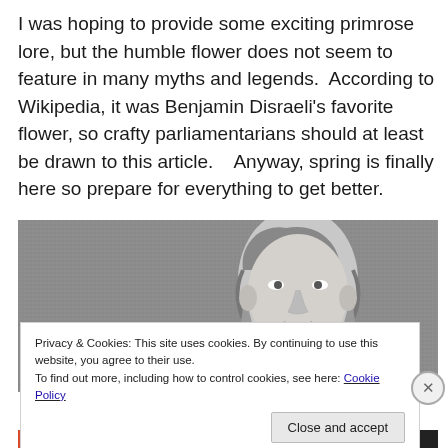I was hoping to provide some exciting primrose lore, but the humble flower does not seem to feature in many myths and legends.  According to Wikipedia, it was Benjamin Disraeli's favorite flower, so crafty parliamentarians should at least be drawn to this article.    Anyway, spring is finally here so prepare for everything to get better.
[Figure (photo): Black and white portrait photograph of Benjamin Disraeli, cropped to show his head and upper shoulders, against a textured grey background.]
Privacy & Cookies: This site uses cookies. By continuing to use this website, you agree to their use.
To find out more, including how to control cookies, see here: Cookie Policy
Close and accept